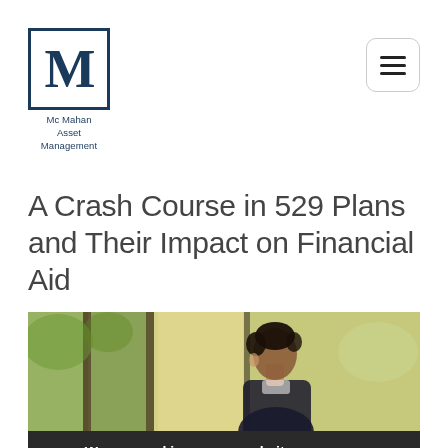[Figure (logo): McMahan Asset Management logo — square box with large letter M in dark navy blue, with text 'Mc Mahan Asset Management' below]
[Figure (other): Hamburger menu button — rounded rectangle with three horizontal lines]
A Crash Course in 529 Plans and Their Impact on Financial Aid
[Figure (photo): Young Black man in a suit seen from behind/side, looking out large windows at greenery, soft warm light]
We use cookies on our website so we can